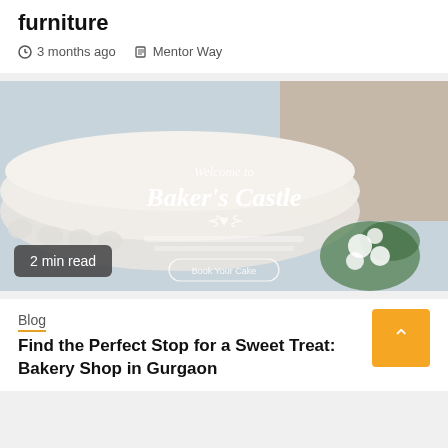furniture
3 months ago   Mentor Way
[Figure (photo): Baker's Castle bakery website screenshot showing a wedding cake with white frosting and flowers, with text 'Welcome to Baker's Castle' and a 'Book Your Cake' button. Badge shows '2 min read'.]
Blog
Find the Perfect Stop for a Sweet Treat: Bakery Shop in Gurgaon